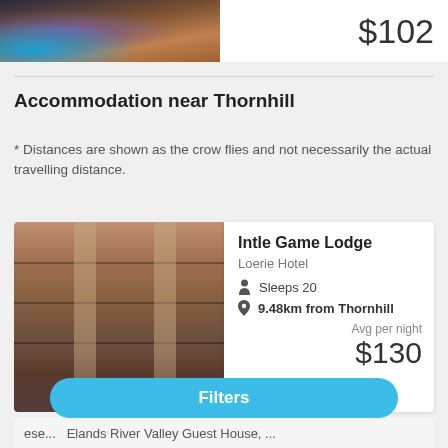[Figure (photo): Top strip: pool/terrace photo on left, price $102 on right]
$102
Accommodation near Thornhill
* Distances are shown as the crow flies and not necessarily the actual travelling distance.
[Figure (photo): Photo of Intle Game Lodge building exterior with balconies]
Intle Game Lodge
Loerie Hotel
Sleeps 20
9.48km from Thornhill
Avg per night
$130
Filters
ese...
Elands River Valley Guest House, ...